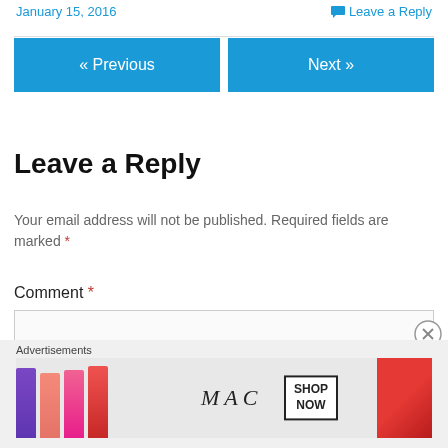January 15, 2016
Leave a Reply
Leave a Reply
Your email address will not be published. Required fields are marked *
Comment *
[Figure (screenshot): Comment textarea input box]
[Figure (photo): MAC cosmetics advertisement with lipsticks, MAC logo, and SHOP NOW button]
Advertisements